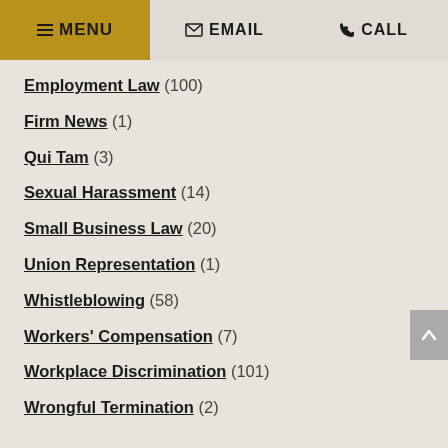≡ MENU  ✉ EMAIL  ✆ CALL
Employment Law (100)
Firm News (1)
Qui Tam (3)
Sexual Harassment (14)
Small Business Law (20)
Union Representation (1)
Whistleblowing (58)
Workers' Compensation (7)
Workplace Discrimination (101)
Wrongful Termination (2)